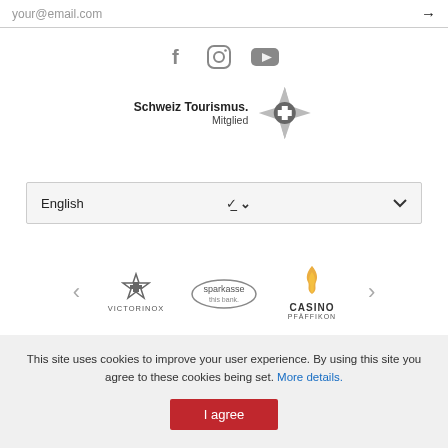your@email.com →
[Figure (logo): Social media icons: Facebook (f), Instagram (circle), YouTube (play button) in gray]
[Figure (logo): Schweiz Tourismus. Mitglied — logo with Swiss cross sunburst emblem]
English ∨
[Figure (logo): Sponsor logos carousel: VICTORINOX, sparkasse (this bank.), CASINO PFÄFFIKON with navigation arrows]
This site uses cookies to improve your user experience. By using this site you agree to these cookies being set. More details. [I agree button]